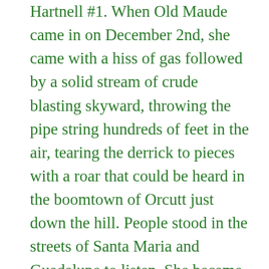Hartnell #1. When Old Maude came in on December 2nd, she came with a hiss of gas followed by a solid stream of crude blasting skyward, throwing the pipe string hundreds of feet in the air, tearing the derrick to pieces with a roar that could be heard in the boomtown of Orcutt just down the hill. People stood in the streets of Santa Maria and Guadalupe to listen. She became the largest producing well in history at the time . She spewed 20,000 barrels a day, flooding the Graciosa canyon with oil as hand crews struggled to contain tens of thousands of barrels